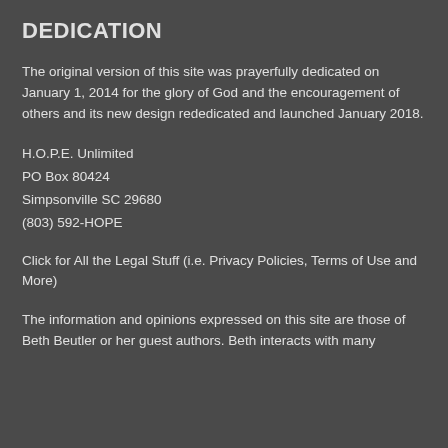DEDICATION
The original version of this site was prayerfully dedicated on January 1, 2014 for the glory of God and the encouragement of others and its new design rededicated and launched January 2018.
H.O.P.E. Unlimited
PO Box 80424
Simpsonville SC 29680
(803) 592-HOPE
Click for All the Legal Stuff (i.e. Privacy Policies, Terms of Use and More)
The information and opinions expressed on this site are those of Beth Beutler or her guest authors. Beth interacts with many